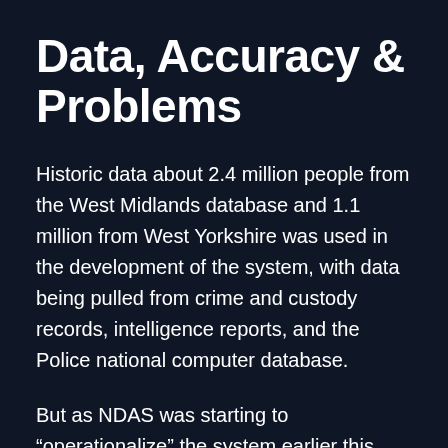Data, Accuracy & Problems
Historic data about 2.4 million people from the West Midlands database and 1.1 million from West Yorkshire was used in the development of the system, with data being pulled from crime and custody records, intelligence reports, and the Police national computer database.
But as NDAS was starting to “operationalize” the system earlier this year, problems struck. Documents published by the West Midlands’ Police Ethics Committee, which is responsible for